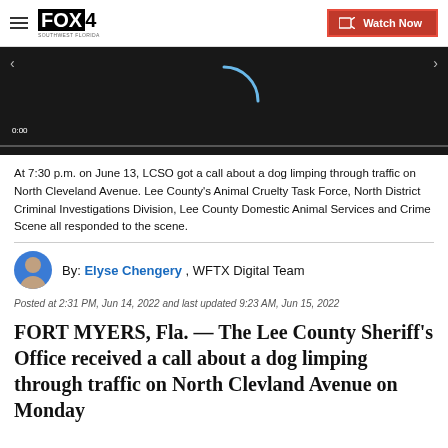FOX4 — Watch Now
[Figure (screenshot): Video player with dark background, loading spinner arc, timestamp 0:00, navigation arrows, progress bar]
At 7:30 p.m. on June 13, LCSO got a call about a dog limping through traffic on North Cleveland Avenue. Lee County's Animal Cruelty Task Force, North District Criminal Investigations Division, Lee County Domestic Animal Services and Crime Scene all responded to the scene.
By: Elyse Chengery , WFTX Digital Team
Posted at 2:31 PM, Jun 14, 2022 and last updated 9:23 AM, Jun 15, 2022
FORT MYERS, Fla. — The Lee County Sheriff's Office received a call about a dog limping through traffic on North Clevland Avenue on Monday